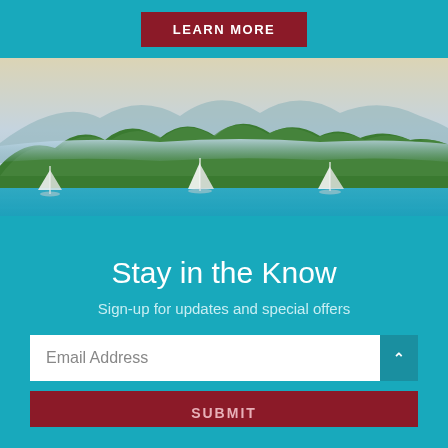LEARN MORE
[Figure (photo): Tropical Caribbean bay with sailboats anchored on turquoise water, green forested hills and mountains in the background under a hazy sky.]
Stay in the Know
Sign-up for updates and special offers
Email Address
SUBMIT